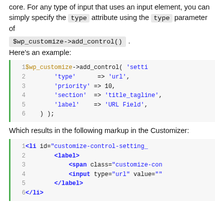core. For any type of input that uses an input element, you can simply specify the type attribute using the type parameter of $wp_customize->add_control() .
Here's an example:
[Figure (screenshot): PHP code block showing $wp_customize->add_control() with 'type'=>'url', 'priority'=>10, 'section'=>'title_tagline', 'label'=>'URL Field' with line numbers 1-6 and green left border]
Which results in the following markup in the Customizer:
[Figure (screenshot): HTML markup code block showing <li id='customize-control-setting_'>, <label>, <span class='customize-con'>, <input type='url' value=''>, </label>, </li> with line numbers 1-6 and green left border]